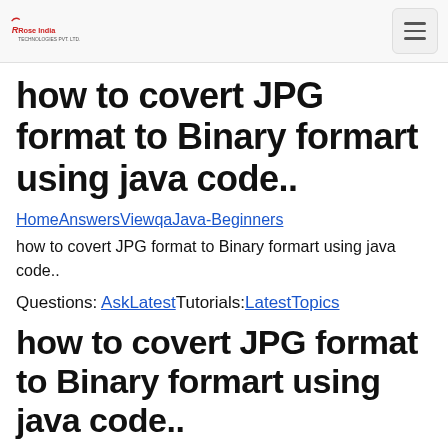Rose India [logo] | hamburger menu
how to covert JPG format to Binary formart using java code..
HomeAnswersViewqaJava-Beginners how to covert JPG format to Binary formart using java code..
Questions: AskLatestTutorials:LatestTopics
how to covert JPG format to Binary formart using java code..
convert JPG format to Binary formart How can i convert JPG format to Binary format using java code